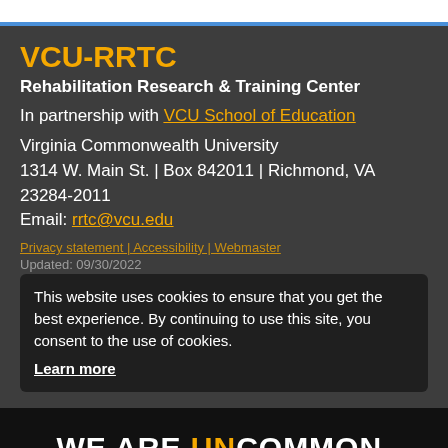VCU-RRTC
Rehabilitation Research & Training Center
In partnership with VCU School of Education
Virginia Commonwealth University
1314 W. Main St. | Box 842011 | Richmond, VA 23284-2011
Email: rrtc@vcu.edu
Privacy statement | Accessibility | Webmaster
Updated: 09/30/2022
This website uses cookies to ensure that you get the best experience. By continuing to use this site, you consent to the use of cookies.
Learn more
WE ARE UNCOMMON.